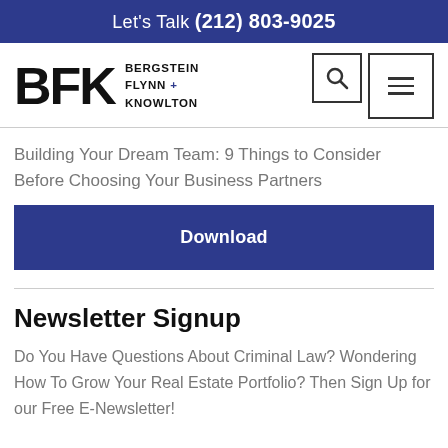Let's Talk (212) 803-9025
[Figure (logo): BFK Bergstein Flynn + Knowlton law firm logo with search and menu icons]
Building Your Dream Team: 9 Things to Consider Before Choosing Your Business Partners
Download
Newsletter Signup
Do You Have Questions About Criminal Law? Wondering How To Grow Your Real Estate Portfolio? Then Sign Up for our Free E-Newsletter!